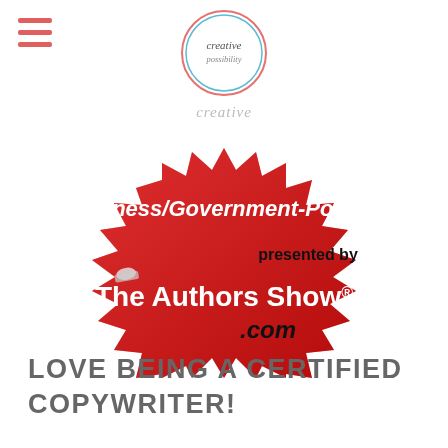[Figure (logo): Hamburger menu icon (three horizontal red lines) in top left corner]
[Figure (logo): Creative Possibility circular logo in the top center of the page]
[Figure (illustration): Red starburst/badge shape featuring text: Business/Government-Politics, presented by, The Authors Show® .com]
LOVE BEING A CERTIFIED COPYWRITER!